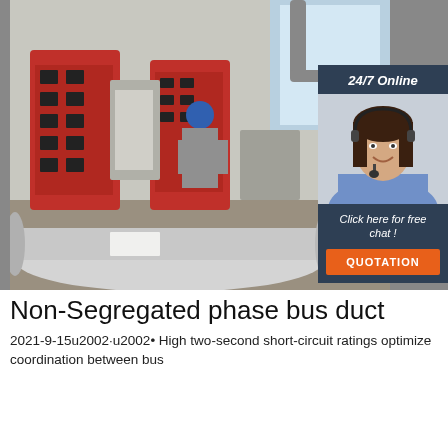[Figure (photo): Factory floor scene showing a worker in blue hard hat operating large red electrical cabinet/bus duct manufacturing equipment, with a large cylindrical metal duct on the floor in the foreground.]
[Figure (photo): Customer service agent, a woman with dark hair wearing a headset and light blue shirt, smiling. Overlay text reads '24/7 Online', 'Click here for free chat!', and an orange 'QUOTATION' button.]
Non-Segregated phase bus duct
2021-9-15u2002·u2002• High two-second short-circuit ratings optimize coordination between bus duct and circuit breakers.